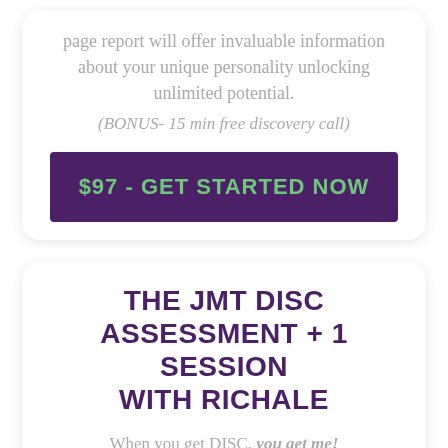page report will offer invaluable information about your unique personality unlocking unlimited potential.
(BONUS- 15 min free discovery call)
$97 - GET STARTED NOW
THE JMT DISC ASSESSMENT + 1 SESSION WITH RICHALE
When you get DISC, you get me!
Our high info experience with Richale...